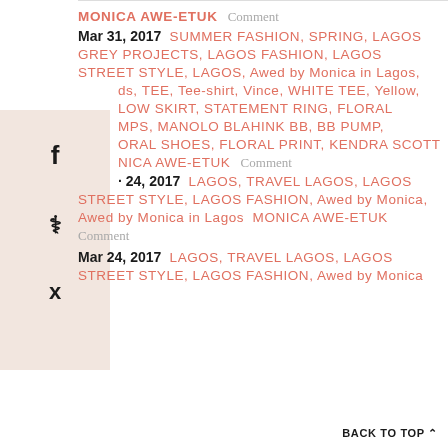MONICA AWE-ETUK  Comment
Mar 31, 2017  SUMMER FASHION, SPRING, LAGOS GREY PROJECTS, LAGOS FASHION, LAGOS STREET STYLE, LAGOS, Awed by Monica in Lagos,
ds, TEE, Tee-shirt, Vince, WHITE TEE, Yellow, LOW SKIRT, STATEMENT RING, FLORAL MPS, MANOLO BLAHINK BB, BB PUMP, ORAL SHOES, FLORAL PRINT, KENDRA SCOTT
NICA AWE-ETUK  Comment
24, 2017  LAGOS, TRAVEL LAGOS, LAGOS STREET STYLE, LAGOS FASHION, Awed by Monica, Awed by Monica in Lagos  MONICA AWE-ETUK  Comment
Mar 24, 2017  LAGOS, TRAVEL LAGOS, LAGOS STREET STYLE, LAGOS FASHION,  Awed by Monica
BACK TO TOP ^